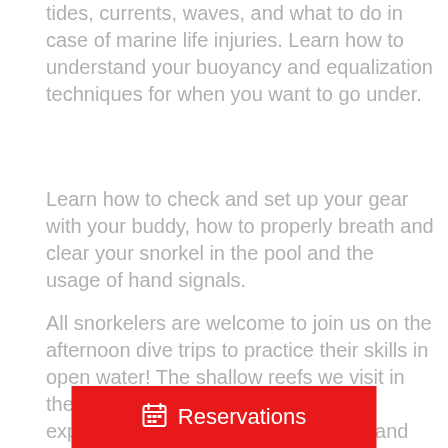tides, currents, waves, and what to do in case of marine life injuries. Learn how to understand your buoyancy and equalization techniques for when you want to go under.
Learn how to check and set up your gear with your buddy, how to properly breath and clear your snorkel in the pool and the usage of hand signals.
All snorkelers are welcome to join us on the afternoon dive trips to practice their skills in open water! The shallow reefs we visit in the afternoon are a perfect time to experience the beauty of open water and all the colors and life it has to offer.
Reservations